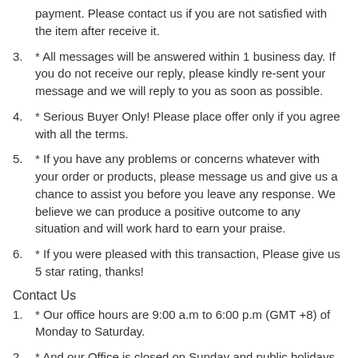payment. Please contact us if you are not satisfied with the item after receive it.
3. * All messages will be answered within 1 business day. If you do not receive our reply, please kindly re-sent your message and we will reply to you as soon as possible.
4. * Serious Buyer Only! Please place offer only if you agree with all the terms.
5. * If you have any problems or concerns whatever with your order or products, please message us and give us a chance to assist you before you leave any response. We believe we can produce a positive outcome to any situation and will work hard to earn your praise.
6. * If you were pleased with this transaction, Please give us 5 star rating, thanks!
Contact Us
1. * Our office hours are 9:00 a.m to 6:00 p.m (GMT +8) of Monday to Saturday.
2. * And our Office is closed on Sunday and public holidays.
3. * We apologize for the late reply during the holidays.